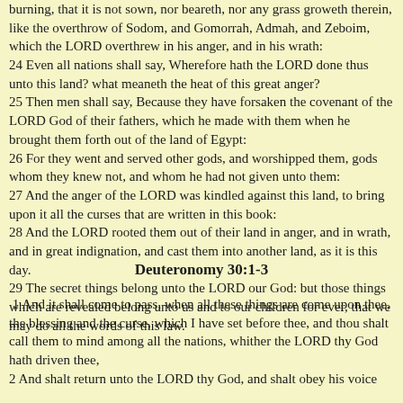burning, that it is not sown, nor beareth, nor any grass groweth therein, like the overthrow of Sodom, and Gomorrah, Admah, and Zeboim, which the LORD overthrew in his anger, and in his wrath: 24 Even all nations shall say, Wherefore hath the LORD done thus unto this land? what meaneth the heat of this great anger? 25 Then men shall say, Because they have forsaken the covenant of the LORD God of their fathers, which he made with them when he brought them forth out of the land of Egypt: 26 For they went and served other gods, and worshipped them, gods whom they knew not, and whom he had not given unto them: 27 And the anger of the LORD was kindled against this land, to bring upon it all the curses that are written in this book: 28 And the LORD rooted them out of their land in anger, and in wrath, and in great indignation, and cast them into another land, as it is this day. 29 The secret things belong unto the LORD our God: but those things which are revealed belong unto us and to our children for ever, that we may do all the words of this law.
Deuteronomy 30:1-3
1 And it shall come to pass, when all these things are come upon thee, the blessing and the curse, which I have set before thee, and thou shalt call them to mind among all the nations, whither the LORD thy God hath driven thee, 2 And shalt return unto the LORD thy God, and shalt obey his voice according to all that I command thee this day, thou and thy children, with all thine heart, and with all thy soul;